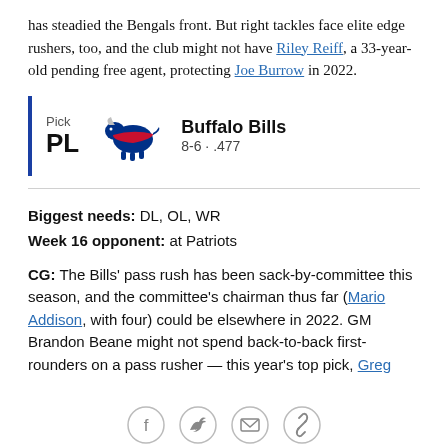has steadied the Bengals front. But right tackles face elite edge rushers, too, and the club might not have Riley Reiff, a 33-year-old pending free agent, protecting Joe Burrow in 2022.
Pick PL | Buffalo Bills | 8-6 · .477
Biggest needs: DL, OL, WR
Week 16 opponent: at Patriots
CG: The Bills' pass rush has been sack-by-committee this season, and the committee's chairman thus far (Mario Addison, with four) could be elsewhere in 2022. GM Brandon Beane might not spend back-to-back first-rounders on a pass rusher — this year's top pick, Greg